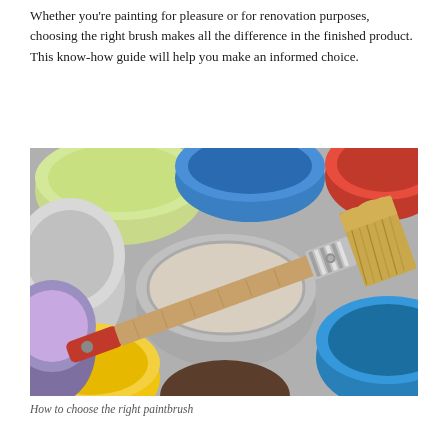Whether you're painting for pleasure or for renovation purposes, choosing the right brush makes all the difference in the finished product. This know-how guide will help you make an informed choice.
[Figure (photo): Overhead view of multiple open paint cans in various colors (green, blue, red, white, cream, yellow, purple) with a paintbrush with a red wooden handle and natural bristles resting across the center can.]
How to choose the right paintbrush